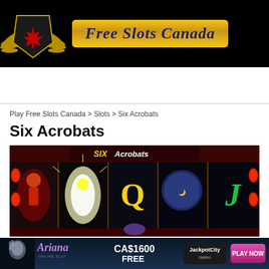[Figure (logo): Free Slots Canada website logo with black shield, golden wings, red maple leaf, and stylized text banner reading 'Free Slots Canada' on gold background]
≡ MENU
Play Free Slots Canada > Slots > Six Acrobats
Six Acrobats
[Figure (screenshot): Screenshot of the Six Acrobats slot machine game showing reels with acrobat characters, Q symbol, J symbol, and glowing special effects on a red lantern background]
[Figure (infographic): Advertisement banner for Ariana Online Slot at JackpotCity casino offering CA$1600 FREE with a PLAY NOW button]